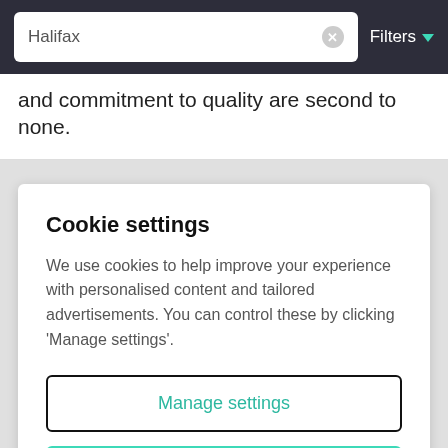Halifax | Filters
and commitment to quality are second to none.
Cookie settings
We use cookies to help improve your experience with personalised content and tailored advertisements. You can control these by clicking 'Manage settings'.
Manage settings
Allow all cookies
Established in 1868, Reeds Rains has over 150-years of expertise in selling and renting house. During that